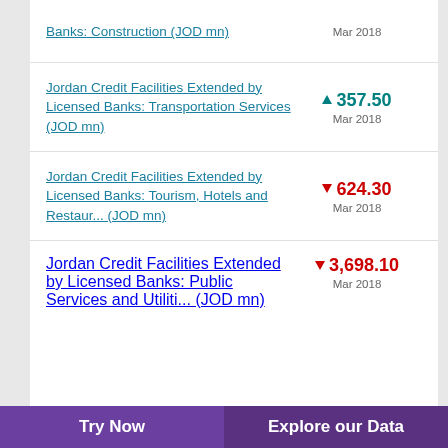Banks: Construction (JOD mn)
Jordan Credit Facilities Extended by Licensed Banks: Transportation Services (JOD mn) — 357.50, Mar 2018 (up)
Jordan Credit Facilities Extended by Licensed Banks: Tourism, Hotels and Restaur... (JOD mn) — 624.30, Mar 2018 (down)
Jordan Credit Facilities Extended by Licensed Banks: Public Services and Utiliti... (JOD mn) — 3,698.10, Mar 2018 (down)
Try Now | Explore our Data